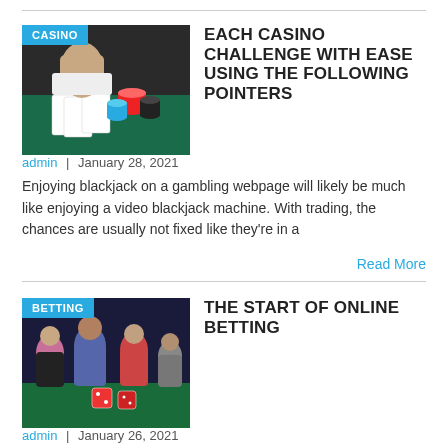[Figure (photo): Casino card game scene with poker chips and cards on green felt table, with category badge 'CASINO']
EACH CASINO CHALLENGE WITH EASE USING THE FOLLOWING POINTERS
admin  |  January 28, 2021
Enjoying blackjack on a gambling webpage will likely be much like enjoying a video blackjack machine. With trading, the chances are usually not fixed like they're in a
Read More
[Figure (photo): Group of people celebrating at a casino table with dice, with category badge 'BETTING']
THE START OF ONLINE BETTING
admin  |  January 26, 2021
We've rewarded sportsbooks who not solely present a vast amount of offers